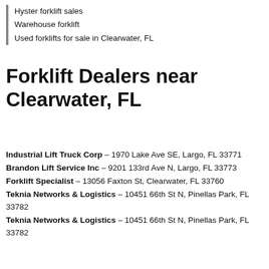Hyster forklift sales
Warehouse forklift
Used forklifts for sale in Clearwater, FL
Forklift Dealers near Clearwater, FL
Industrial Lift Truck Corp – 1970 Lake Ave SE, Largo, FL 33771
Brandon Lift Service Inc – 9201 133rd Ave N, Largo, FL 33773
Forklift Specialist – 13056 Faxton St, Clearwater, FL 33760
Teknia Networks & Logistics – 10451 66th St N, Pinellas Park, FL 33782
Teknia Networks & Logistics – 10451 66th St N, Pinellas Park, FL 33782